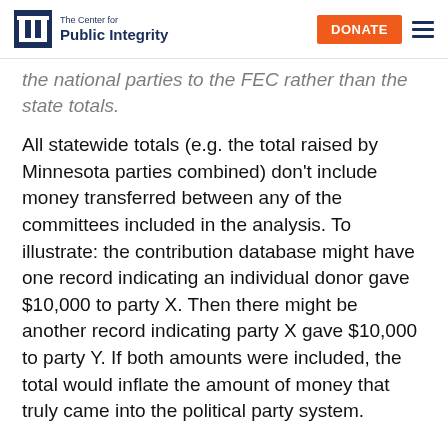The Center for Public Integrity | DONATE
the national parties to the FEC rather than the state totals.
All statewide totals (e.g. the total raised by Minnesota parties combined) don't include money transferred between any of the committees included in the analysis. To illustrate: the contribution database might have one record indicating an individual donor gave $10,000 to party X. Then there might be another record indicating party X gave $10,000 to party Y. If both amounts were included, the total would inflate the amount of money that truly came into the political party system.